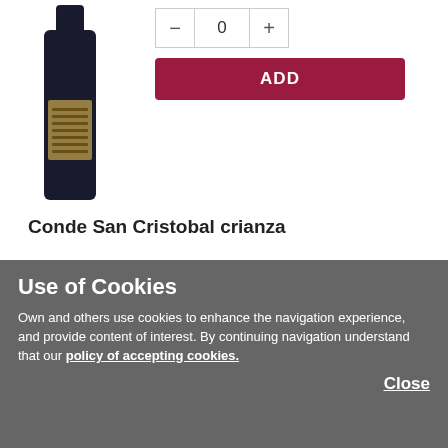[Figure (photo): Wine bottle (dark, partially shown, top portion) on left side]
[Figure (screenshot): ADD button UI element with quantity selector showing value 0]
Conde San Cristobal crianza
0,75 L
Ribera del Duero
Gold Medal in Mundus Vini
90 Parker
more info
[Figure (photo): Wine bottle (red label, partially shown, bottom section)]
1  7.92 £/btl
6  7.44 £/btl
Units:
Use of Cookies
Own and others use cookies to enhance the navigation experience, and provide content of interest. By continuing navigation understand that our policy of accepting cookies.
Close